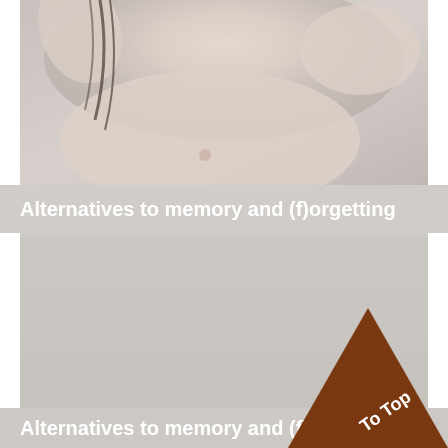[Figure (photo): Close-up photo of a human torso/chest area with pale skin, neutral gray background]
Alternatives to memory and (f)orgetting
[Figure (photo): Gray/neutral background image panel, largely blank]
Alternatives to memory and (f)orgetting
[Figure (illustration): Dark brown triangle shape with 'To Top' text in white, positioned in bottom right corner]